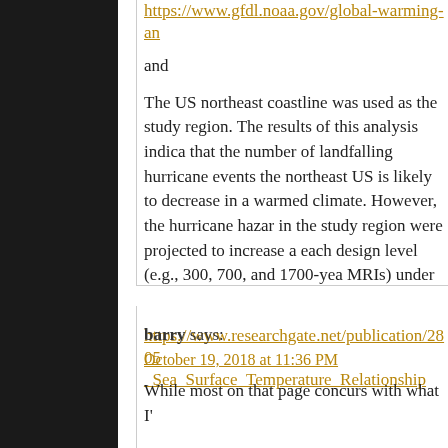https://www.gfdl.noaa.gov/global-warming-an
and
The US northeast coastline was used as the study region. The results of this analysis indica that the number of landfalling hurricane events the northeast US is likely to decrease in a warmed climate. However, the hurricane hazar in the study region were projected to increase a each design level (e.g., 300, 700, and 1700-yea MRIs) under the RCP 8.5 climate scenario.
https://www.researchgate.net/publication/2805 _Sea_Surface_Temperature_Relationship
barry says:
October 19, 2018 at 11:36 PM
While most on that page concurs with what I'